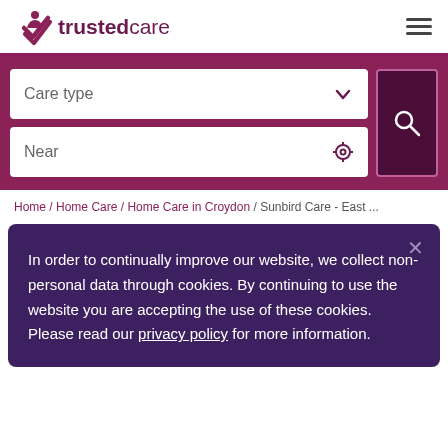trustedcare
[Figure (screenshot): Search form with Care type dropdown and Near location field, with a search button]
Home / Home Care / Home Care in Croydon / Sunbird Care - East ...
In order to continually improve our website, we collect non-personal data through cookies. By continuing to use the website you are accepting the use of these cookies. Please read our privacy policy for more information.